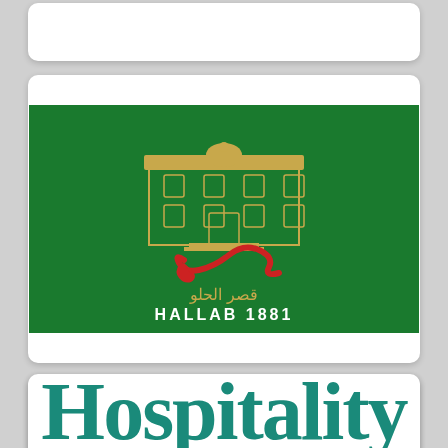[Figure (logo): Partial white card at top (clipped)]
[Figure (logo): Hallab 1881 logo: green background with golden building illustration, red Arabic calligraphy, Arabic text قصر الحلو and HALLAB 1881 in white]
[Figure (logo): Motivate Academy logo: black background with yellow M icon and MOTIVATE ACADEMY text in yellow/orange]
[Figure (logo): Hospitality text logo in teal/green serif font, partially visible (clipped at bottom)]